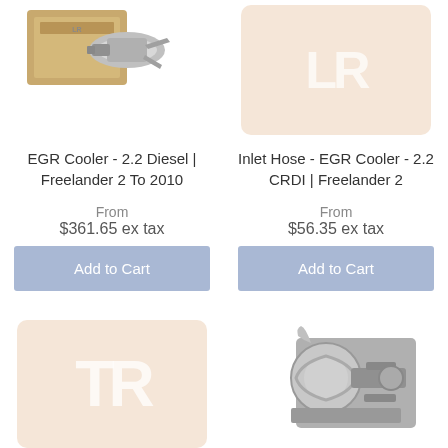[Figure (photo): Photo of EGR Cooler part with box packaging]
[Figure (photo): Placeholder image with LR logo watermark for Inlet Hose EGR Cooler]
EGR Cooler - 2.2 Diesel | Freelander 2 To 2010
Inlet Hose - EGR Cooler - 2.2 CRDI | Freelander 2
From
$361.65 ex tax
From
$56.35 ex tax
Add to Cart
Add to Cart
[Figure (photo): Placeholder image with TR logo watermark]
[Figure (photo): Photo of automotive part - EGR or turbo component]